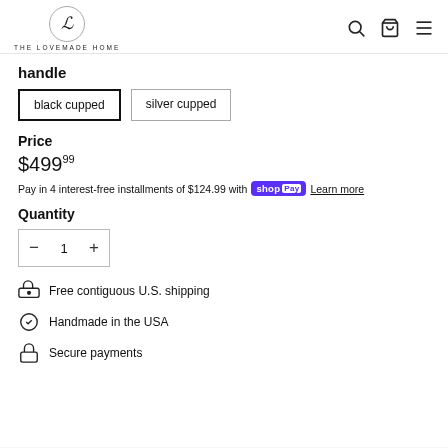THE LOVEMADE HOME
handle
black cupped
silver cupped
Price
$499.99
Pay in 4 interest-free installments of $124.99 with shop Pay Learn more
Quantity
− 1 +
Free contiguous U.S. shipping
Handmade in the USA
Secure payments